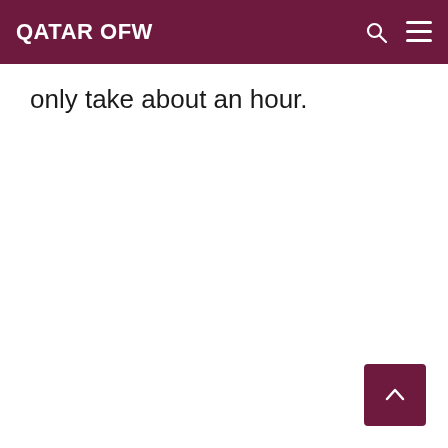QATAR OFW
only take about an hour.